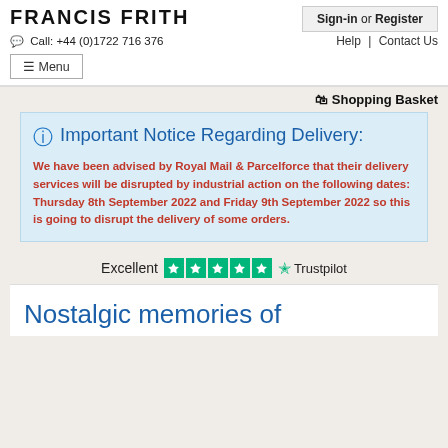FRANCIS FRITH
Sign-in or Register
Call: +44 (0)1722 716 376
Help | Contact Us
≡ Menu
🛒 Shopping Basket
ℹ Important Notice Regarding Delivery:
We have been advised by Royal Mail & Parcelforce that their delivery services will be disrupted by industrial action on the following dates: Thursday 8th September 2022 and Friday 9th September 2022 so this is going to disrupt the delivery of some orders.
Excellent ★★★★★ Trustpilot
Nostalgic memories of